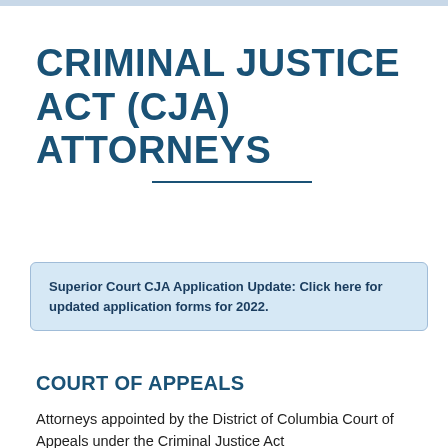CRIMINAL JUSTICE ACT (CJA) ATTORNEYS
Superior Court CJA Application Update: Click here for updated application forms for 2022.
COURT OF APPEALS
Attorneys appointed by the District of Columbia Court of Appeals under the Criminal Justice Act